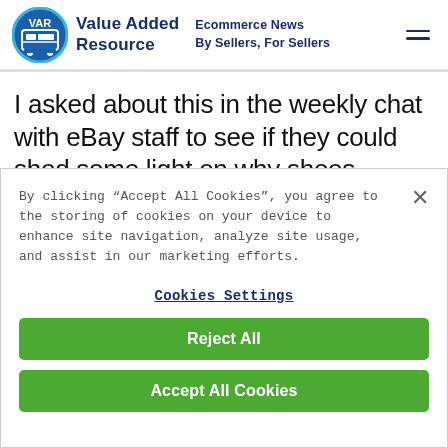Value Added Resource — Ecommerce News By Sellers, For Sellers
I asked about this in the weekly chat with eBay staff to see if they could shed some light on why shoes
By clicking "Accept All Cookies", you agree to the storing of cookies on your device to enhance site navigation, analyze site usage, and assist in our marketing efforts.
Cookies Settings
Reject All
Accept All Cookies